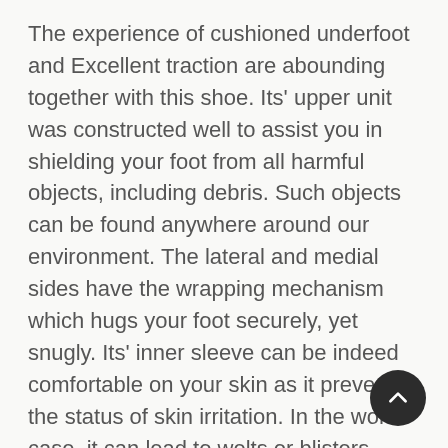The experience of cushioned underfoot and Excellent traction are abounding together with this shoe. Its' upper unit was constructed well to assist you in shielding your foot from all harmful objects, including debris. Such objects can be found anywhere around our environment. The lateral and medial sides have the wrapping mechanism which hugs your foot securely, yet snugly. Its' inner sleeve can be indeed comfortable on your skin as it prevents the status of skin irritation. In the worst case, it can lead to welts or blisters.
Its' mid-sole part features the wonderful components and compounds with high quality to ensure that your underfoot experience will be as secure and comfortable as possible. It is